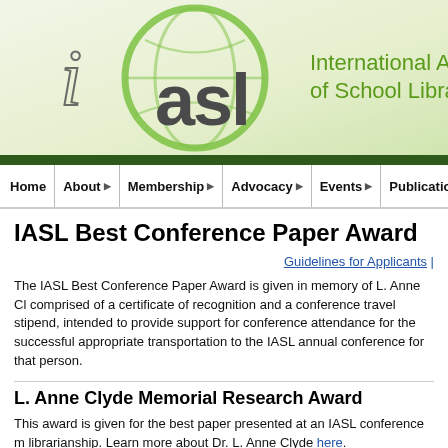[Figure (logo): IASL logo with green circular globe graphic, stylized italic 'i', bold 'asl' text, and 'International Association of School Librarians' text in green]
Home | About | Membership | Advocacy | Events | Publications
IASL Best Conference Paper Award
Guidelines for Applicants |
The IASL Best Conference Paper Award is given in memory of L. Anne Clyde, comprised of a certificate of recognition and a conference travel stipend, intended to provide support for conference attendance for the successful appropriate transportation to the IASL annual conference for that person.
L. Anne Clyde Memorial Research Award
This award is given for the best paper presented at an IASL conference m librarianship. Learn more about Dr. L. Anne Clyde here.